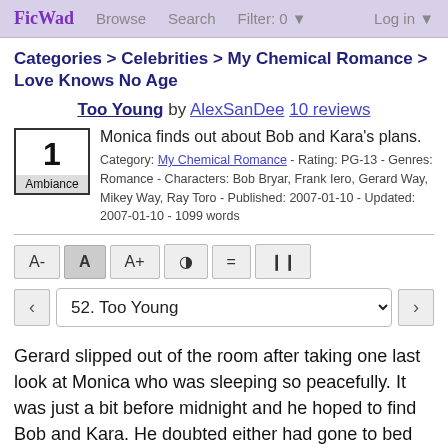FicWad  Browse  Search  Filter: 0  Log in
Categories > Celebrities > My Chemical Romance > Love Knows No Age
Too Young by AlexSanDee 10 reviews
Monica finds out about Bob and Kara's plans.
Category: My Chemical Romance - Rating: PG-13 - Genres: Romance - Characters: Bob Bryar, Frank Iero, Gerard Way, Mikey Way, Ray Toro - Published: 2007-01-10 - Updated: 2007-01-10 - 1099 words
Gerard slipped out of the room after taking one last look at Monica who was sleeping so peacefully. It was just a bit before midnight and he hoped to find Bob and Kara. He doubted either had gone to bed yet. He first went